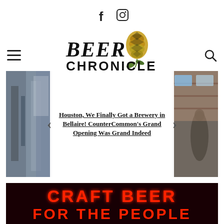[Figure (logo): Facebook and Instagram social media icons centered at top]
[Figure (logo): Beer Chronicle logo with hop illustration and stylized text]
[Figure (other): Hamburger menu icon on left, search icon on right]
Houston, We Finally Got a Brewery in Bellaire! CounterCommon’s Grand Opening Was Grand Indeed
[Figure (photo): Carousel with partial photos on left and right sides, brewery interior images]
[Figure (photo): Photo showing neon sign reading CRAFT BEER FOR THE PEOPLE in red neon on dark background]